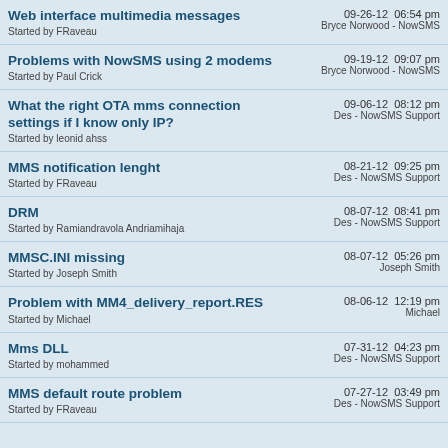Web interface multimedia messages
Started by FRaveau
09-26-12  06:54 pm
Bryce Norwood - NowSMS
Problems with NowSMS using 2 modems
Started by Paul Crick
09-19-12  09:07 pm
Bryce Norwood - NowSMS
What the right OTA mms connection settings if I know only IP?
Started by leonid ahss
09-06-12  08:12 pm
Des - NowSMS Support
MMS notification lenght
Started by FRaveau
08-21-12  09:25 pm
Des - NowSMS Support
DRM
Started by Ramiandravola Andriamihaja
08-07-12  08:41 pm
Des - NowSMS Support
MMSC.INI missing
Started by Joseph Smith
08-07-12  05:26 pm
Joseph Smith
Problem with MM4_delivery_report.RES
Started by Michael
08-06-12  12:19 pm
Michael
Mms DLL
Started by mohammed
07-31-12  04:23 pm
Des - NowSMS Support
MMS default route problem
Started by FRaveau
07-27-12  03:49 pm
Des - NowSMS Support